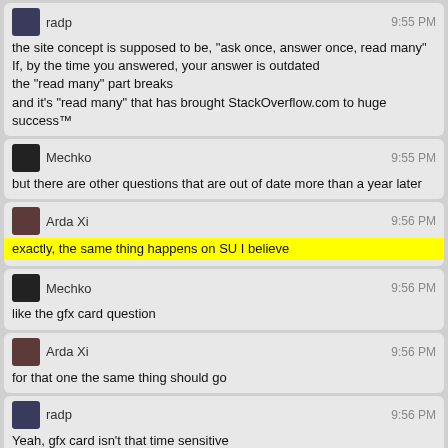radp — 9:55 PM
the site concept is supposed to be, "ask once, answer once, read many"
If, by the time you answered, your answer is outdated
the "read many" part breaks
and it's "read many" that has brought StackOverflow.com to huge success™
Mechko — 9:55 PM
but there are other questions that are out of date more than a year later
Arda Xi — 9:56 PM
exactly, the same thing happens on SU I believe
Mechko — 9:56 PM
like the gfx card question
Arda Xi — 9:56 PM
for that one the same thing should go
radp — 9:56 PM
Yeah, gfx card isn't that time sensitive
Macha — 9:56 PM
So much for Apple stuff being more reliable. iPod just hard crashed :(
Mechko — 9:56 PM
haha
radp — 9:56 PM